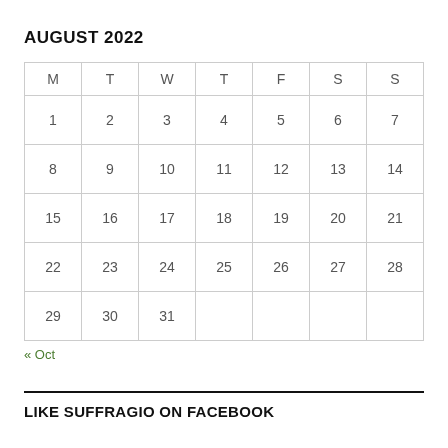AUGUST 2022
| M | T | W | T | F | S | S |
| --- | --- | --- | --- | --- | --- | --- |
| 1 | 2 | 3 | 4 | 5 | 6 | 7 |
| 8 | 9 | 10 | 11 | 12 | 13 | 14 |
| 15 | 16 | 17 | 18 | 19 | 20 | 21 |
| 22 | 23 | 24 | 25 | 26 | 27 | 28 |
| 29 | 30 | 31 |  |  |  |  |
« Oct
LIKE SUFFRAGIO ON FACEBOOK